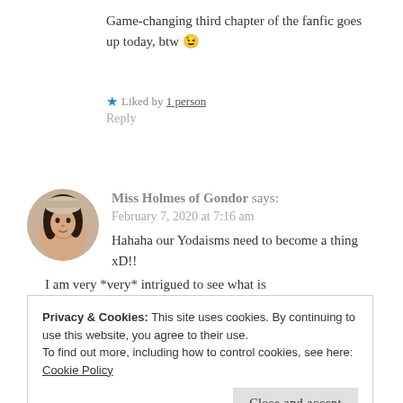Game-changing third chapter of the fanfic goes up today, btw 😉
★ Liked by 1 person
Reply
[Figure (photo): Circular avatar photo of a person with dark hair]
Miss Holmes of Gondor says:
February 7, 2020 at 7:16 am
Hahaha our Yodaisms need to become a thing xD!!
I am very *very* intrigued to see what is
Privacy & Cookies: This site uses cookies. By continuing to use this website, you agree to their use.
To find out more, including how to control cookies, see here: Cookie Policy
Close and accept
and I think it made the Star Wars